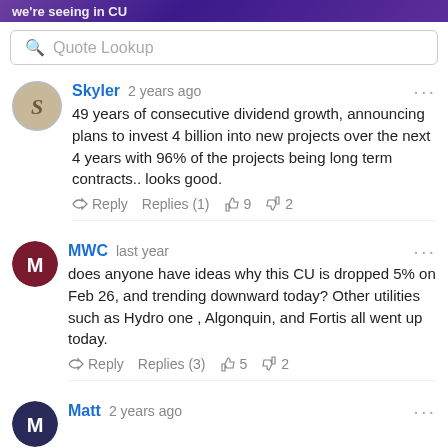we're seeing in CU
Quote Lookup
Skyler  2 years ago
49 years of consecutive dividend growth, announcing plans to invest 4 billion into new projects over the next 4 years with 96% of the projects being long term contracts.. looks good.
Reply  Replies (1)  9  2
MWC  last year
does anyone have ideas why this CU is dropped 5% on Feb 26, and trending downward today? Other utilities such as Hydro one , Algonquin, and Fortis all went up today.
Reply  Replies (3)  5  2
Matt  2 years ago